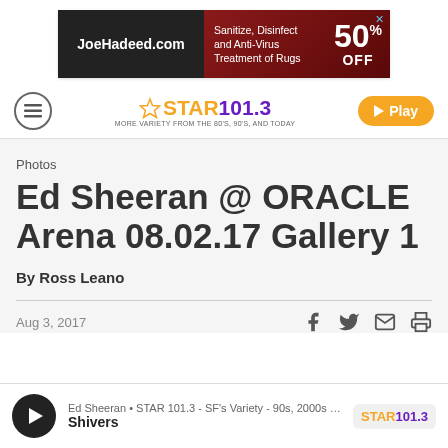[Figure (other): Advertisement banner: JoeHadeed.com on left black panel, Sanitize, Disinfect and Anti-Virus Treatment of Rugs 50% OFF on right dark red panel with X close button]
STAR 101.3 navigation bar with hamburger menu, star logo STAR101.3, and orange Play button
Photos
Ed Sheeran @ ORACLE Arena 08.02.17 Gallery 1
By Ross Leano
Aug 3, 2017
Ed Sheeran • STAR 101.3 - SF's Variety - 90s, 2000s & … Shivers